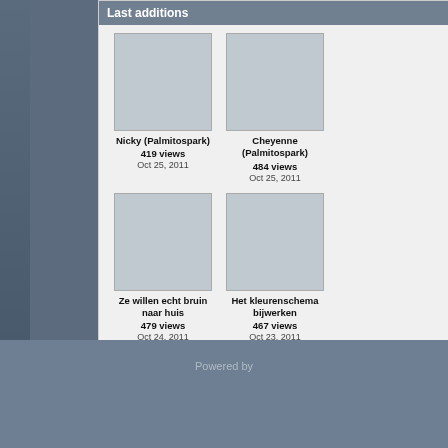Last additions
[Figure (screenshot): Thumbnail placeholder for Nicky (Palmitospark)]
Nicky (Palmitospark)
419 views
Oct 25, 2011
[Figure (screenshot): Thumbnail placeholder for Cheyenne (Palmitospark)]
Cheyenne (Palmitospark)
484 views
Oct 25, 2011
[Figure (screenshot): Thumbnail placeholder for Ze willen echt bruin naar huis]
Ze willen echt bruin naar huis
479 views
Oct 24, 2011
[Figure (screenshot): Thumbnail placeholder for Het kleurenschema bijwerken (1)]
Het kleurenschema bijwerken
467 views
Oct 23, 2011
[Figure (screenshot): Thumbnail placeholder for Het kleurenschema bijwerken (2)]
Het kleurenschema bijwerken
410 views
Oct 23, 2011
[Figure (screenshot): Thumbnail placeholder for Nicky en Cheyenne in het zwembad]
Nicky en Cheyenne in het zwembad
435 views
Oct 23, 2011
Powered by